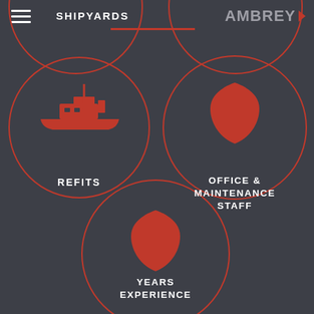SHIPYARDS
[Figure (logo): AMBREY logo with red triangle]
[Figure (infographic): Three overlapping circles infographic with icons and labels: REFITS (ship icon), OFFICE & MAINTENANCE STAFF (shield icon), YEARS EXPERIENCE (shield icon)]